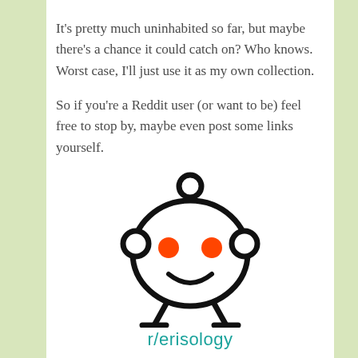It's pretty much uninhabited so far, but maybe there's a chance it could catch on? Who knows. Worst case, I'll just use it as my own collection.
So if you're a Reddit user (or want to be) feel free to stop by, maybe even post some links yourself.
[Figure (logo): Reddit alien (Snoo) mascot logo — black outline figure with orange eyes on white background]
r/erisology
Did you enjoy this article? Consider supporting